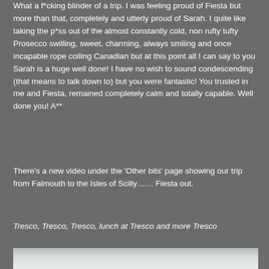What a f*cking blinder of a trip. I was feeling proud of Fiesta but more than that, completely and utterly proud of Sarah. I quite like taking the p*ss out of the almost constantly cold, non rufty tufty Prosecco swilling, sweet, charming, always smiling and once incapable rope coiling Canadian but at this point all I can say to you Sarah is a huge well done! I have no wish to sound condescending (that means to talk down to) but you were fantastic! You trusted in me and Fiesta, remained completely calm and totally capable. Well done you! A**
There's a new video under the 'Other bits' page showing our trip from Falmouth to the Isles of Scilly…… Fiesta out.
Tresco, Tresco, Tresco, lunch at Tresco and more Tresco
[Figure (photo): Partial photo visible at bottom of page, appears to show a dark outdoor or nautical scene]